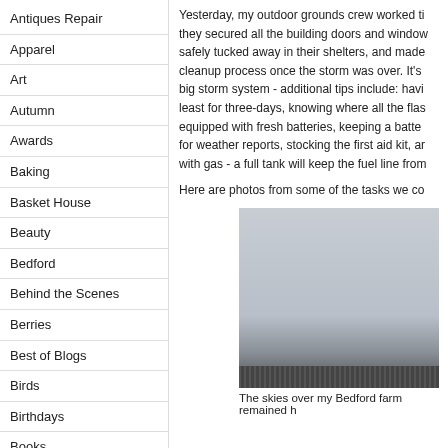Antiques Repair
Apparel
Art
Autumn
Awards
Baking
Basket House
Beauty
Bedford
Behind the Scenes
Berries
Best of Blogs
Birds
Birthdays
Books
Boxwood
Bulbs
Yesterday, my outdoor grounds crew worked ti... they secured all the building doors and window... safely tucked away in their shelters, and made... cleanup process once the storm was over. It's ... big storm system - additional tips include: havi... least for three-days, knowing where all the flas... equipped with fresh batteries, keeping a batter... for weather reports, stocking the first aid kit, ar... with gas - a full tank will keep the fuel line from...
Here are photos from some of the tasks we co...
[Figure (photo): A photo showing grey skies over a farm building with a roof visible at the bottom.]
The skies over my Bedford farm remained h...